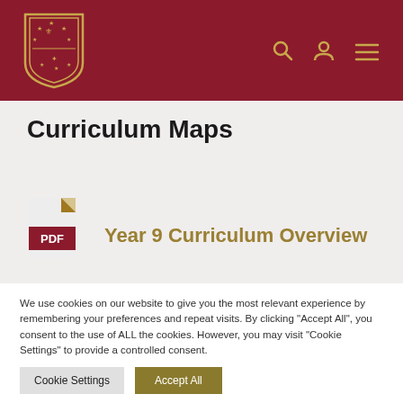[Figure (logo): School crest/shield logo in gold on dark red header background with search, user, and menu icons]
Curriculum Maps
[Figure (illustration): PDF file icon with red and tan/gold coloring]
Year 9 Curriculum Overview
We use cookies on our website to give you the most relevant experience by remembering your preferences and repeat visits. By clicking "Accept All", you consent to the use of ALL the cookies. However, you may visit "Cookie Settings" to provide a controlled consent.
Cookie Settings
Accept All